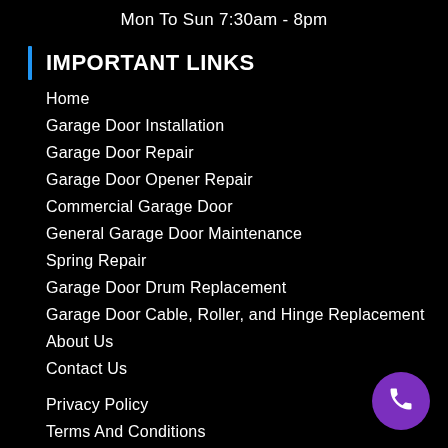Mon To Sun 7:30am - 8pm
IMPORTANT LINKS
Home
Garage Door Installation
Garage Door Repair
Garage Door Opener Repair
Commercial Garage Door
General Garage Door Maintenance
Spring Repair
Garage Door Drum Replacement
Garage Door Cable, Roller, and Hinge Replacement
About Us
Contact Us
Privacy Policy
Terms And Conditions
[Figure (illustration): Purple circular phone call button in the bottom-right corner]